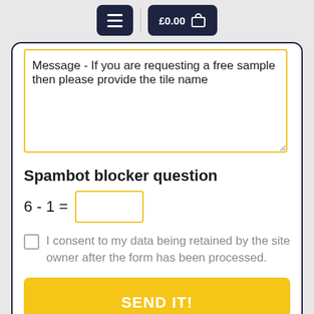£0.00
Message - If you are requesting a free sample then please provide the tile name
Spambot blocker question
I consent to my data being retained by the site owner after the form has been processed.
SEND IT!